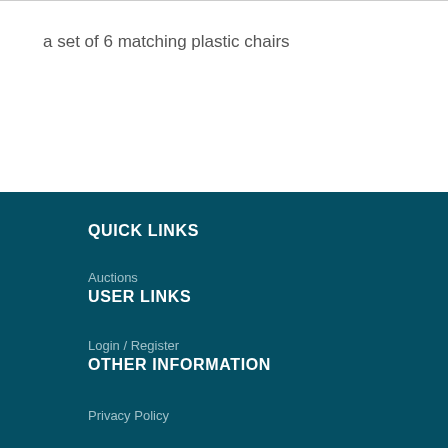a set of 6 matching plastic chairs
QUICK LINKS
Auctions
USER LINKS
Login / Register
OTHER INFORMATION
Privacy Policy